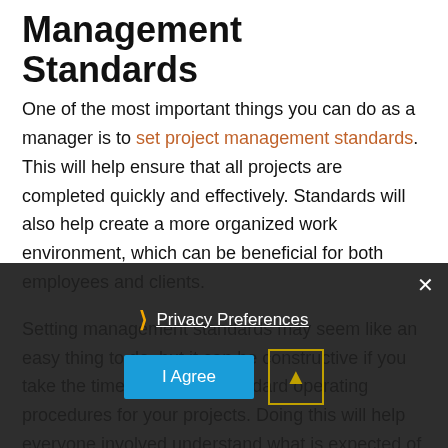Management Standards
One of the most important things you can do as a manager is to set project management standards. This will help ensure that all projects are completed quickly and effectively. Standards will also help create a more organized work environment, which can be beneficial for both employees and clients.
Setting management standards may seem like an easy thing to do, but it can be constructive if you take the time to develop standard operating procedures for your projects. Doing this will help everyone involved understand what is expected of them and how they should complete tasks to meet deadlines.
Privacy Preferences | I Agree [cookie banner overlay]